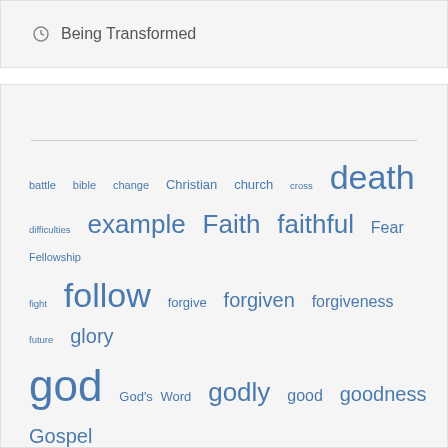Being Transformed
[Figure (infographic): Tag cloud of Christian/religious terms in varying sizes indicating frequency, all in blue-grey color. Terms include: battle, bible, change, Christian, church, cross, death, difficulties, example, Faith, faithful, Fear, Fellowship, fight, follow, forgive, forgiven, forgiveness, future, glory, god, God's Word, godly, good, goodness, Gospel, grace, Heart, heaven, help, holiness, Holy, Holy Spirit, hope, humble, Jesus, joy, lead, Life, listen, live, Lord, love, marriage, mercy, ministry, Obey, peace, Power, praise, pray, Prayer, promises, remove, repent, Righteousness, salvation, seek, serve, share, sin, spirit, strength, stumble, surrender, trials]